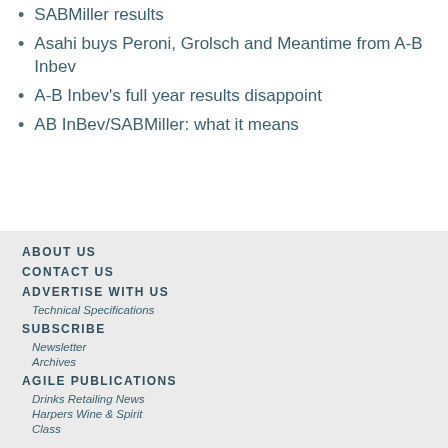SABMiller results
Asahi buys Peroni, Grolsch and Meantime from A-B Inbev
A-B Inbev's full year results disappoint
AB InBev/SABMiller: what it means
ABOUT US
CONTACT US
ADVERTISE WITH US
Technical Specifications
SUBSCRIBE
Newsletter
Archives
AGILE PUBLICATIONS
Drinks Retailing News
Harpers Wine & Spirit
Class